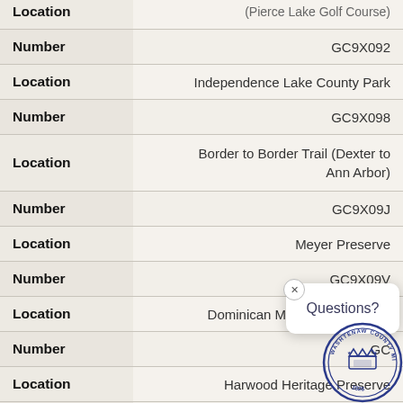| Field | Value |
| --- | --- |
| Location | (Pierce Lake Golf Course) |
| Number | GC9X092 |
| Location | Independence Lake County Park |
| Number | GC9X098 |
| Location | Border to Border Trail (Dexter to Ann Arbor) |
| Number | GC9X09J |
| Location | Meyer Preserve |
| Number | GC9X09V |
| Location | Dominican Meadows Preserve |
| Number | GC… |
| Location | Harwood Heritage Preserve |
| Number | GC9X0A… |
| Location | Brauer Preserve |